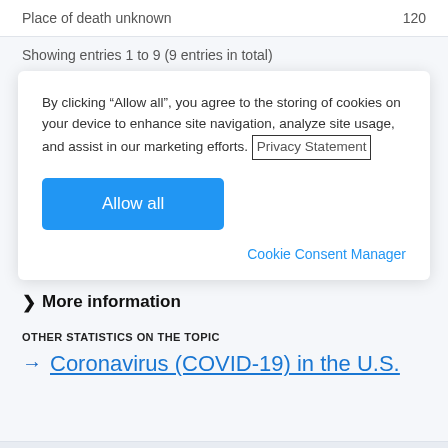|  |  |
| --- | --- |
| Place of death unknown | 120 |
Showing entries 1 to 9 (9 entries in total)
By clicking “Allow all”, you agree to the storing of cookies on your device to enhance site navigation, analyze site usage, and assist in our marketing efforts. Privacy Statement
Allow all
Cookie Consent Manager
> More information
OTHER STATISTICS ON THE TOPIC
→ Coronavirus (COVID-19) in the U.S.